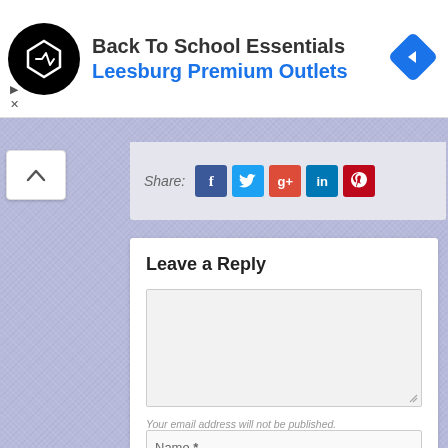[Figure (screenshot): Advertisement banner for Back To School Essentials at Leesburg Premium Outlets, with black circular logo, blue navigation arrow icon, and ad controls]
[Figure (screenshot): Share bar with Facebook, Twitter, Google+, LinkedIn, and Pinterest buttons]
Leave a Reply
[Figure (screenshot): Large empty textarea input box with resize handle]
Your email address will not be published. Required fields are marked *
[Figure (screenshot): Name input field with asterisk label]